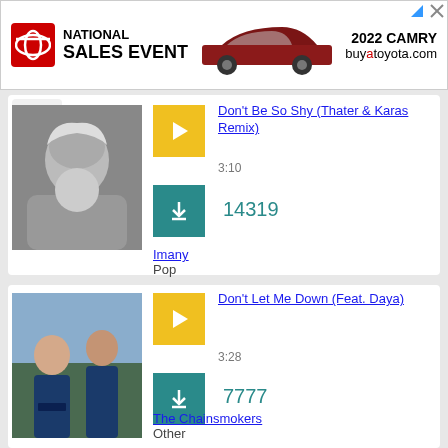[Figure (screenshot): Toyota National Sales Event advertisement banner with logo, car image, and website URL buyatoyota.com]
[Figure (screenshot): Music listing card 1: song 'Don't Be So Shy (Thater & Karas Remix)' by Imany, duration 3:10, downloads 14319, genre Pop, with black and white artist photo]
[Figure (screenshot): Music listing card 2: song 'Don't Let Me Down (Feat. Daya)' by The Chainsmokers, duration 3:28, downloads 7777, genre Other, with band photo]